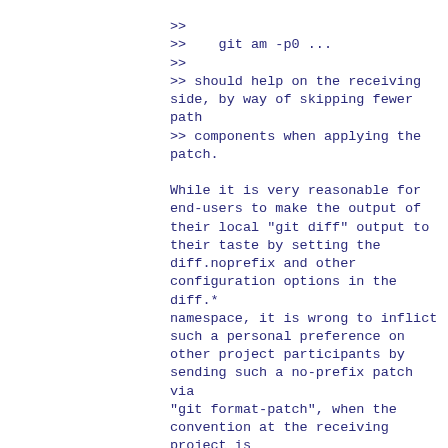>>
>>    git am -p0 ...
>>
>> should help on the receiving side, by way of skipping fewer path
>> components when applying the
patch.

While it is very reasonable for end-users to make the output of their local "git diff" output to their taste by setting the diff.noprefix and other configuration options in the diff.*
namespace, it is wrong to inflict such a personal preference on other project participants by sending such a no-prefix patch via
"git format-patch", when the convention at the receiving project is
to use "git am -p1" to accept them.

We would need to tweak the configuration system so that we can more
easily introduce "format.noprefix"